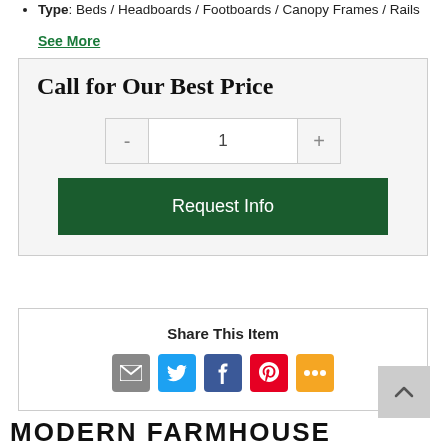Type: Beds / Headboards / Footboards / Canopy Frames / Rails
See More
Call for Our Best Price
1
Request Info
Share This Item
MODERN FARMHOUSE